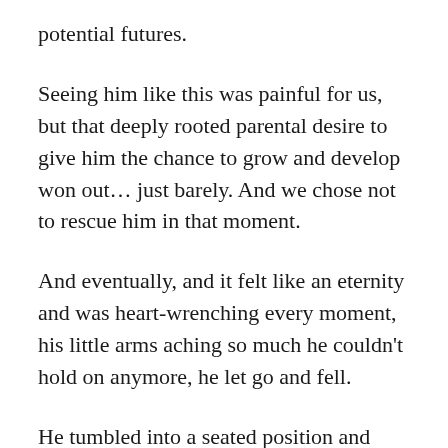potential futures.
Seeing him like this was painful for us, but that deeply rooted parental desire to give him the chance to grow and develop won out… just barely. And we chose not to rescue him in that moment.
And eventually, and it felt like an eternity and was heart-wrenching every moment, his little arms aching so much he couldn't hold on anymore, he let go and fell.
He tumbled into a seated position and looked a bit dazed, then looked at us.
“Dad!”, he exclaimed in amazement and disbelief, “I